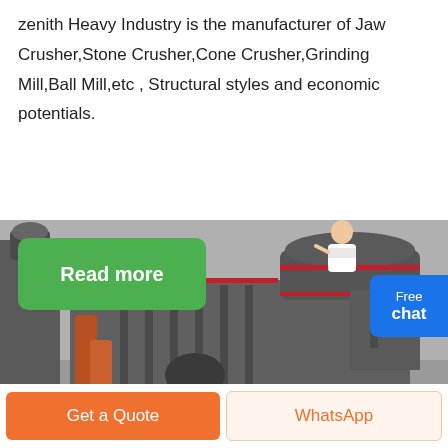zenith Heavy Industry is the manufacturer of Jaw Crusher,Stone Crusher,Cone Crusher,Grinding Mill,Ball Mill,etc , Structural styles and economic potentials.
[Figure (photo): Green 'Read more' button overlaid on industrial crushing machine photo. Blue 'Free chat' button with person avatar on right side.]
[Figure (photo): Large industrial cone/jaw crusher machine in gray color with red hydraulic cylinders, photographed in factory setting.]
Get a Quote
WhatsApp